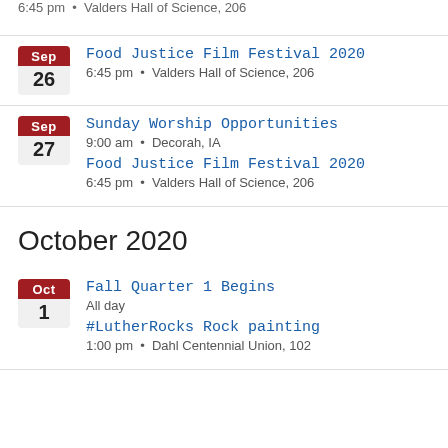6:45 pm • Valders Hall of Science, 206
Sep 26 — Food Justice Film Festival 2020 — 6:45 pm • Valders Hall of Science, 206
Sep 27 — Sunday Worship Opportunities — 9:00 am • Decorah, IA
Sep 27 — Food Justice Film Festival 2020 — 6:45 pm • Valders Hall of Science, 206
October 2020
Oct 1 — Fall Quarter 1 Begins — All day
Oct 1 — #LutherRocks Rock painting — 1:00 pm • Dahl Centennial Union, 102